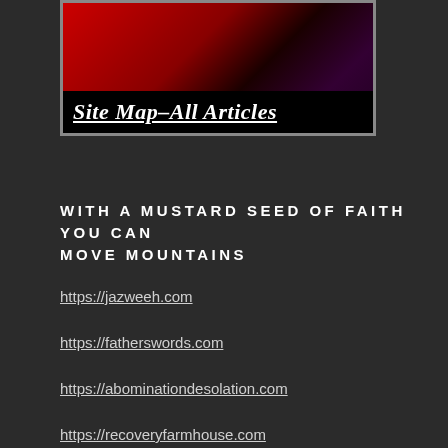[Figure (photo): Photo of decorative items (jewelry/book) on red background with black overlay bar at bottom reading 'Site Map-All Articles' in italic underlined white text]
WITH A MUSTARD SEED OF FAITH YOU CAN MOVE MOUNTAINS
https://jazweeh.com
https://fatherswords.com
https://abominationdesolation.com
https://recoveryfarmhouse.com